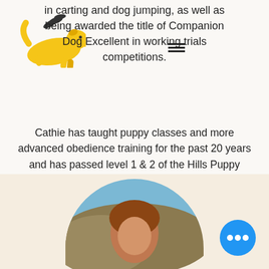[Figure (logo): Yellow jumping dog silhouette logo with black leaf/wing decoration above]
in carting and dog jumping, as well as being awarded the title of Companion Dog Excellent in working trials competitions.
Cathie has taught puppy classes and more advanced obedience training for the past 20 years and has passed level 1 & 2 of the Hills Puppy School Instructor courses. She assists at Happy Dogs with the Puppy 1 & 2 classes as well as teaches more advanced work in Companion Dog, Dogs in Motion and Canine Good Companion classes.
[Figure (photo): Partial photo of a person outdoors in a natural landscape setting, shown in a rounded top frame at the bottom of the page. A blue circular chat button with three dots is overlaid in the bottom right.]